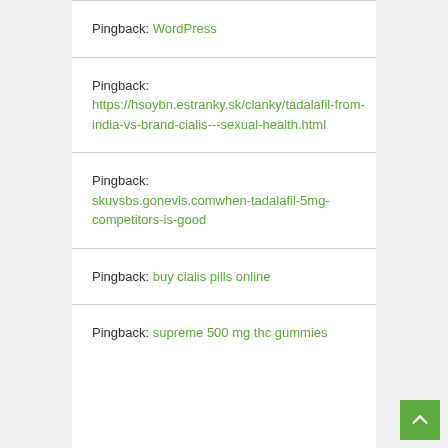Pingback: WordPress
Pingback: https://hsoybn.estranky.sk/clanky/tadalafil-from-india-vs-brand-cialis---sexual-health.html
Pingback: skuvsbs.gonevis.comwhen-tadalafil-5mg-competitors-is-good
Pingback: buy cialis pills online
Pingback: supreme 500 mg thc gummies